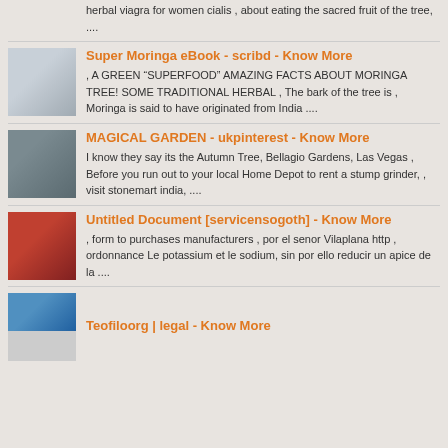herbal viagra for women cialis , about eating the sacred fruit of the tree, ....
Super Moringa eBook - scribd - Know More
, A GREEN “SUPERFOOD” AMAZING FACTS ABOUT MORINGA TREE! SOME TRADITIONAL HERBAL , The bark of the tree is , Moringa is said to have originated from India ....
MAGICAL GARDEN - ukpinterest - Know More
I know they say its the Autumn Tree, Bellagio Gardens, Las Vegas , Before you run out to your local Home Depot to rent a stump grinder, , visit stonemart india, ....
Untitled Document [servicensogoth] - Know More
, form to purchases manufacturers , por el senor Vilaplana http , ordonnance Le potassium et le sodium, sin por ello reducir un apice de la ....
Teofiloorg | legal - Know More